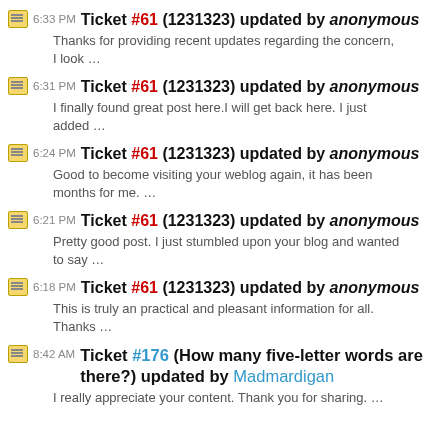6:33 PM Ticket #61 (1231323) updated by anonymous — Thanks for providing recent updates regarding the concern, I look …
6:31 PM Ticket #61 (1231323) updated by anonymous — I finally found great post here.I will get back here. I just added …
6:24 PM Ticket #61 (1231323) updated by anonymous — Good to become visiting your weblog again, it has been months for me. …
6:21 PM Ticket #61 (1231323) updated by anonymous — Pretty good post. I just stumbled upon your blog and wanted to say …
6:18 PM Ticket #61 (1231323) updated by anonymous — This is truly an practical and pleasant information for all. Thanks …
8:42 AM Ticket #176 (How many five-letter words are there?) updated by Madmardigan — I really appreciate your content. Thank you for sharing. …